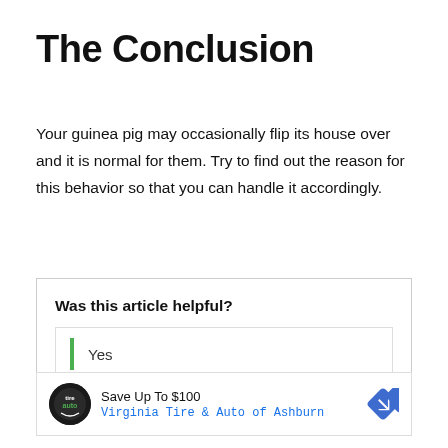The Conclusion
Your guinea pig may occasionally flip its house over and it is normal for them. Try to find out the reason for this behavior so that you can handle it accordingly.
Was this article helpful?
Yes
[Figure (screenshot): Advertisement box showing Tire & Auto logo, text 'Save Up To $100' and 'Virginia Tire & Auto of Ashburn' with a blue diamond arrow icon]